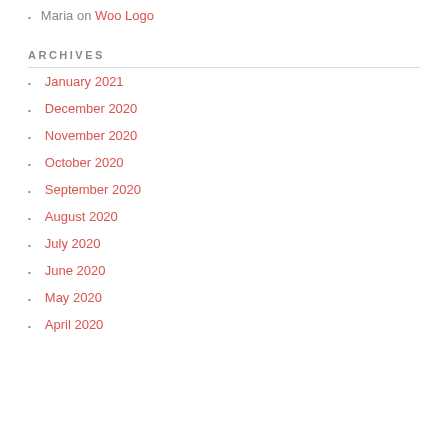Maria on Woo Logo
ARCHIVES
January 2021
December 2020
November 2020
October 2020
September 2020
August 2020
July 2020
June 2020
May 2020
April 2020